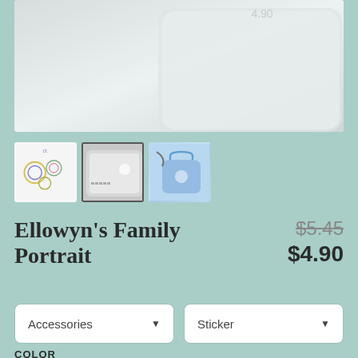[Figure (photo): Main product image showing a white laptop with a sticker on a teal/mint background]
[Figure (photo): Three product thumbnails: sticker art, laptop with sticker (selected), fanny bag with sticker]
Ellowyn's Family Portrait
$5.45 (strikethrough) $4.90
Accessories (dropdown) | Sticker (dropdown)
COLOR